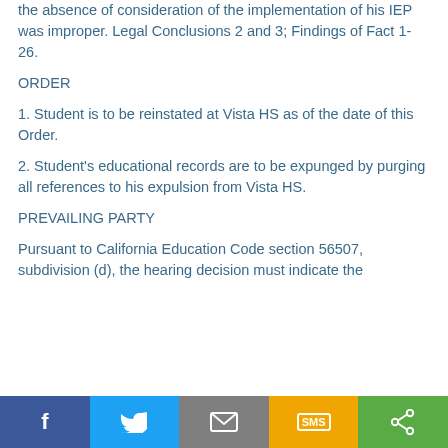the absence of consideration of the implementation of his IEP was improper. Legal Conclusions 2 and 3; Findings of Fact 1-26.
ORDER
1. Student is to be reinstated at Vista HS as of the date of this Order.
2. Student's educational records are to be expunged by purging all references to his expulsion from Vista HS.
PREVAILING PARTY
Pursuant to California Education Code section 56507, subdivision (d), the hearing decision must indicate the